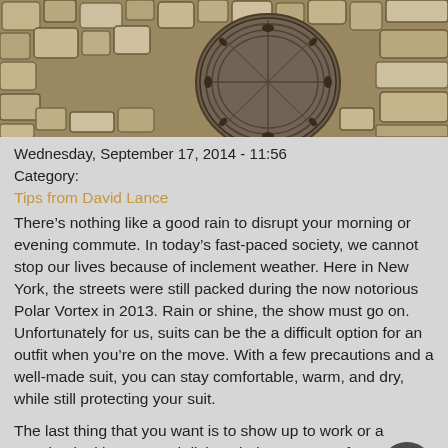[Figure (photo): Close-up aerial view of cobblestone street with a round metal manhole cover in the center]
Wednesday, September 17, 2014 - 11:56
Category:
Tips from David Lance
There’s nothing like a good rain to disrupt your morning or evening commute. In today’s fast-paced society, we cannot stop our lives because of inclement weather. Here in New York, the streets were still packed during the now notorious Polar Vortex in 2013. Rain or shine, the show must go on. Unfortunately for us, suits can be the a difficult option for an outfit when you’re on the move. With a few precautions and a well-made suit, you can stay comfortable, warm, and dry, while still protecting your suit.
The last thing that you want is to show up to work or a meeting looking wet and disheveled. Here are a few